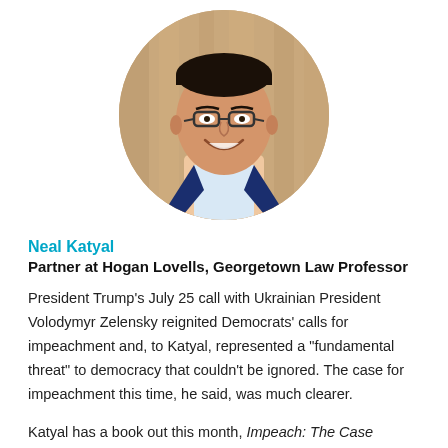[Figure (photo): Circular portrait photo of Neal Katyal, a man wearing glasses and a dark suit jacket with a light blue shirt, smiling, with a wooden background.]
Neal Katyal
Partner at Hogan Lovells, Georgetown Law Professor
President Trump’s July 25 call with Ukrainian President Volodymyr Zelensky reignited Democrats’ calls for impeachment and, to Katyal, represented a “fundamental threat” to democracy that couldn’t be ignored. The case for impeachment this time, he said, was much clearer.
Katyal has a book out this month, Impeach: The Case Against Donald Trump. The backbone of that argument, for